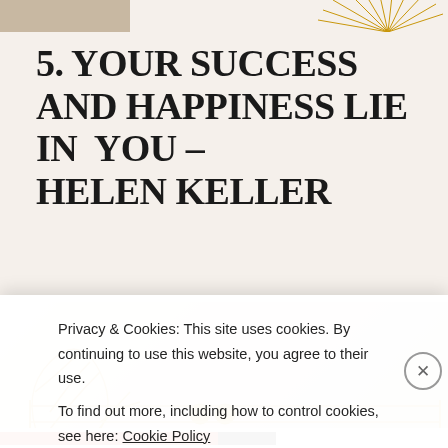[Figure (illustration): Top banner area with partial image on left and golden floral/sun ornament on right]
5. YOUR SUCCESS AND HAPPINESS LIE IN  YOU – HELEN KELLER
[Figure (illustration): Decorative floral and geometric illustration in golden/tan tones with a beige silk/fabric background]
Privacy & Cookies: This site uses cookies. By continuing to use this website, you agree to their use.
To find out more, including how to control cookies, see here: Cookie Policy
Close and accept